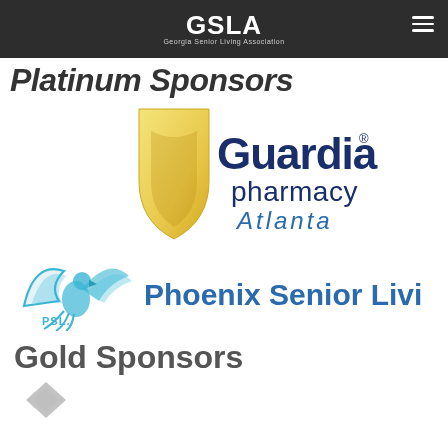GSLA — Georgia Senior Living Association
Presenting Sponsors (background watermark)
Platinum Sponsors
[Figure (logo): Guardian Pharmacy Atlanta logo: gold shield with Guardian pharmacy Atlanta text in navy blue]
[Figure (logo): Phoenix Senior Living logo: blue phoenix bird with PSL text and Phoenix Senior Living. in blue]
Gold Sponsors
[Figure (logo): Partial gold/grey diamond/arrow shape visible at bottom of page]